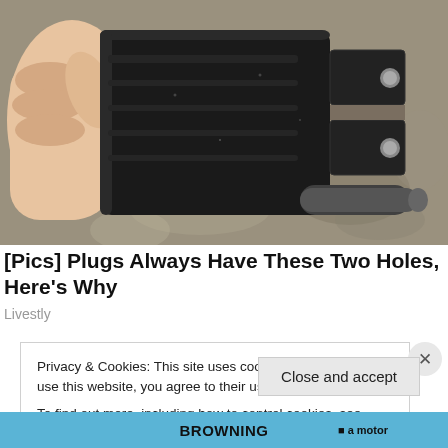[Figure (photo): Close-up photo of a hand holding a black electrical plug (NEMA 5-15 style) showing two flat prongs with holes and one round ground prong, against a granite/stone countertop background.]
[Pics] Plugs Always Have These Two Holes, Here's Why
Livestly
Privacy & Cookies: This site uses cookies. By continuing to use this website, you agree to their use.
To find out more, including how to control cookies, see here: Cookie Policy
Close and accept